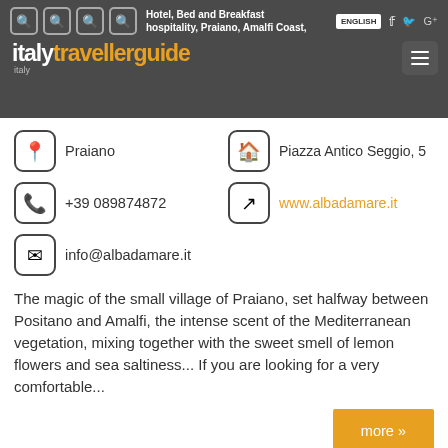italytravellerguide — Hotel, Bed and Breakfast hospitality, Praiano, Amalfi Coast, Italy | ENGLISH
Praiano
Piazza Antico Seggio, 5
+39 089874872
www.albadamare.it
info@albadamare.it
The magic of the small village of Praiano, set halfway between Positano and Amalfi, the intense scent of the Mediterranean vegetation, mixing together with the sweet smell of lemon flowers and sea saltiness... If you are looking for a very comfortable...
more »
[Figure (photo): Antica Residenza Del Gallo - Charming Hospitality in the heart of Lucca - storefront photo]
Antica Residenza del Gallo Guest House Lucca
Quality Hospitality Rooms & Apartments Lucca Tuscany Italy